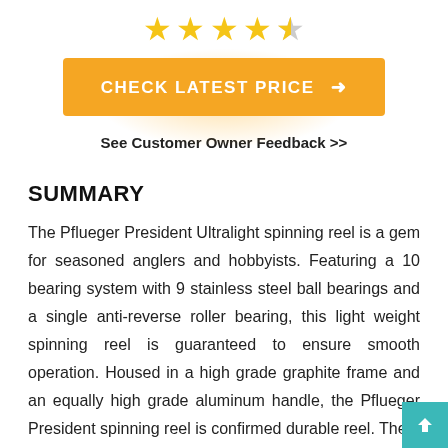[Figure (other): Star rating: 4.5 out of 5 stars (4 full gold stars, 1 half star)]
[Figure (other): Orange button with text CHECK LATEST PRICE → with orange glow effect]
See Customer Owner Feedback >>
SUMMARY
The Pflueger President Ultralight spinning reel is a gem for seasoned anglers and hobbyists. Featuring a 10 bearing system with 9 stainless steel ball bearings and a single anti-reverse roller bearing, this light weight spinning reel is guaranteed to ensure smooth operation. Housed in a high grade graphite frame and an equally high grade aluminum handle, the Pflueger President spinning reel is confirmed durable reel. The